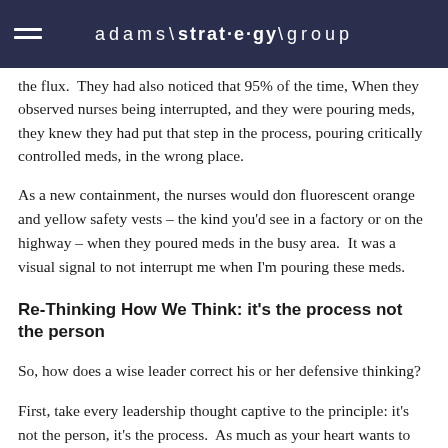adams\strat·e·gy\group
the flux. They had also noticed that 95% of the time, When they observed nurses being interrupted, and they were pouring meds, they knew they had put that step in the process, pouring critically controlled meds, in the wrong place.
As a new containment, the nurses would don fluorescent orange and yellow safety vests – the kind you'd see in a factory or on the highway – when they poured meds in the busy area.  It was a visual signal to not interrupt me when I'm pouring these meds.
Re-Thinking How We Think: it's the process not the person
So, how does a wise leader correct his or her defensive thinking?
First, take every leadership thought captive to the principle: it's not the person, it's the process.  As much as your heart wants to believe that John Doe is an idiot or, worse, an evil person planning to make defects on purpose, let common sense prevail.  Sure, John Doe's personality may make him